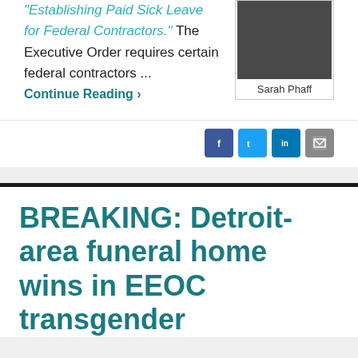"Establishing Paid Sick Leave for Federal Contractors." The Executive Order requires certain federal contractors ... Continue Reading ›
[Figure (photo): Headshot photo of Sarah Phaff]
Sarah Phaff
BREAKING: Detroit-area funeral home wins in EEOC transgender